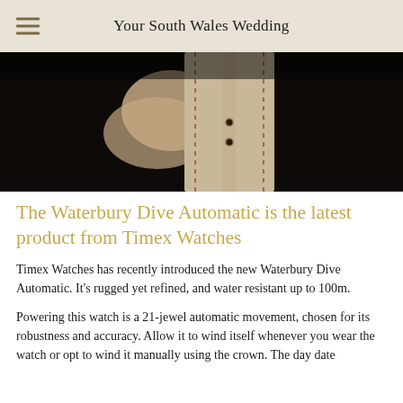Your South Wales Wedding
[Figure (photo): Close-up photo of a leather watch strap being held by fingers, showing stitching detail and holes in the strap against a dark background]
The Waterbury Dive Automatic is the latest product from Timex Watches
Timex Watches has recently introduced the new Waterbury Dive Automatic. It's rugged yet refined, and water resistant up to 100m.
Powering this watch is a 21-jewel automatic movement, chosen for its robustness and accuracy. Allow it to wind itself whenever you wear the watch or opt to wind it manually using the crown. The day date